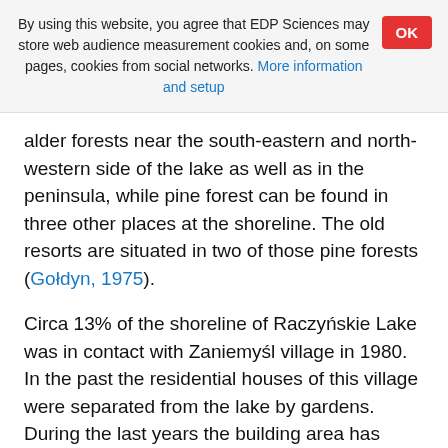By using this website, you agree that EDP Sciences may store web audience measurement cookies and, on some pages, cookies from social networks. More information and setup
alder forests near the south-eastern and north-western side of the lake as well as in the peninsula, while pine forest can be found in three other places at the shoreline. The old resorts are situated in two of those pine forests (Gołdyn, 1975).
Circa 13% of the shoreline of Raczyńskie Lake was in contact with Zaniemyśl village in 1980. In the past the residential houses of this village were separated from the lake by gardens. During the last years the building area has become more compact, new streets have been created much closer to the lake and many new houses have been built. Another 13% of the shoreline was bordered by recreation resorts. They are still active, although new buildings have been created in the